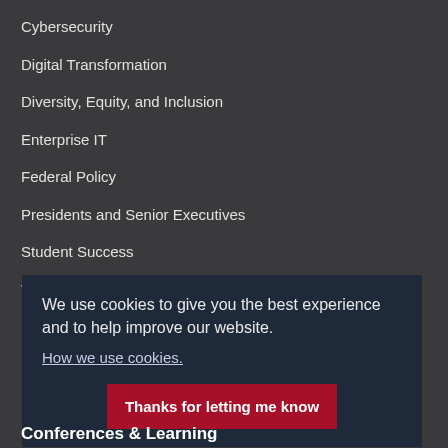Cybersecurity
Digital Transformation
Diversity, Equity, and Inclusion
Enterprise IT
Federal Policy
Presidents and Senior Executives
Student Success
Teaching and Learning
Explore All Library Topics
We use cookies to give you the best experience and to help improve our website.
How we use cookies.
Thanks for letting me know
Conferences & Learning